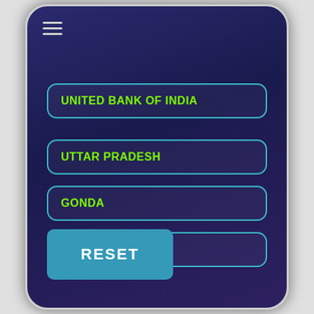[Figure (screenshot): Mobile banking app screenshot showing a bank branch finder interface on a dark navy/purple gradient background. Contains a hamburger menu icon at top left, four input fields (bank name, state, district, branch selector), and a reset button.]
UNITED BANK OF INDIA
UTTAR PRADESH
GONDA
4) Select a Branch
RESET